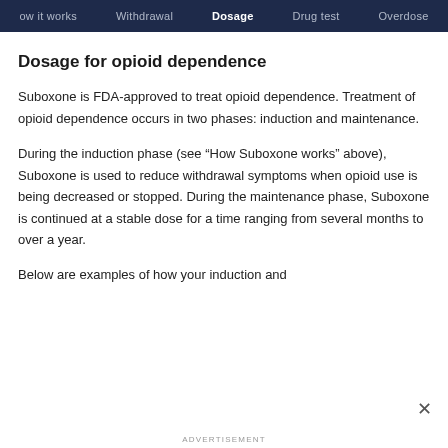ow it works | Withdrawal | Dosage | Drug test | Overdose
Dosage for opioid dependence
Suboxone is FDA-approved to treat opioid dependence. Treatment of opioid dependence occurs in two phases: induction and maintenance.
During the induction phase (see “How Suboxone works” above), Suboxone is used to reduce withdrawal symptoms when opioid use is being decreased or stopped. During the maintenance phase, Suboxone is continued at a stable dose for a time ranging from several months to over a year.
Below are examples of how your induction and
ADVERTISEMENT